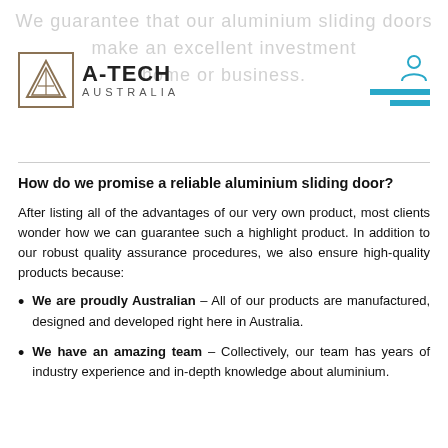We guarantee that our aluminium sliding doors make an excellent investment for your home or business.
[Figure (logo): A-TECH AUSTRALIA logo with triangular geometric emblem]
How do we promise a reliable aluminium sliding door?
After listing all of the advantages of our very own product, most clients wonder how we can guarantee such a highlight product. In addition to our robust quality assurance procedures, we also ensure high-quality products because:
We are proudly Australian – All of our products are manufactured, designed and developed right here in Australia.
We have an amazing team – Collectively, our team has years of industry experience and in-depth knowledge about aluminium.